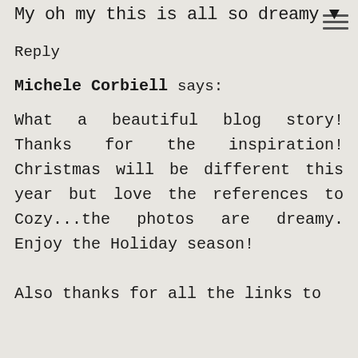My oh my this is all so dreamy ♥
Reply
Michele Corbiell says:
What a beautiful blog story! Thanks for the inspiration! Christmas will be different this year but love the references to Cozy...the photos are dreamy. Enjoy the Holiday season!

Also thanks for all the links to